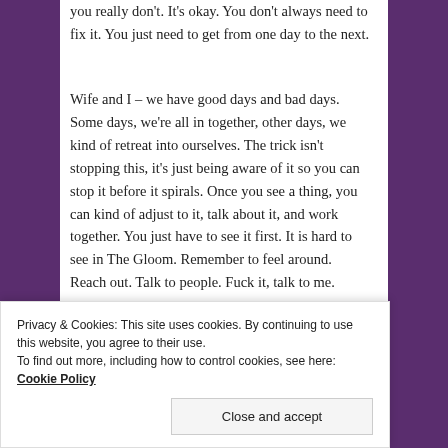you really don't. It's okay. You don't always need to fix it. You just need to get from one day to the next.
Wife and I – we have good days and bad days. Some days, we're all in together, other days, we kind of retreat into ourselves. The trick isn't stopping this, it's just being aware of it so you can stop it before it spirals. Once you see a thing, you can kind of adjust to it, talk about it, and work together. You just have to see it first. It is hard to see in The Gloom. Remember to feel around. Reach out. Talk to people. Fuck it, talk to me.
[Figure (screenshot): Advertisement banner with dark navy background, a pink 'Start now' button on the left, dot grid pattern, and a circular logo reading 'CROWD SIGNAL' on the right side.]
Privacy & Cookies: This site uses cookies. By continuing to use this website, you agree to their use.
To find out more, including how to control cookies, see here: Cookie Policy
Close and accept